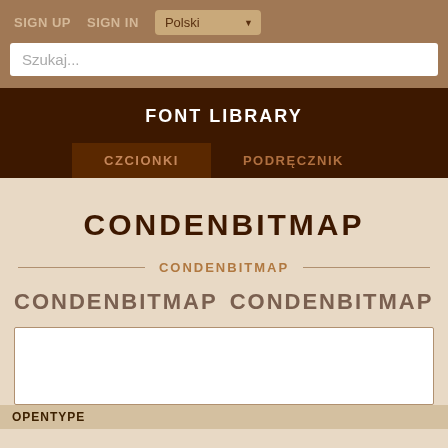SIGN UP  SIGN IN  Polski
Szukaj...
FONT LIBRARY
CZCIONKI  PODRĘCZNIK
CONDENBITMAP
CONDENBITMAP
CONDENBITMAP  CONDENBITMAP
OPENTYPE